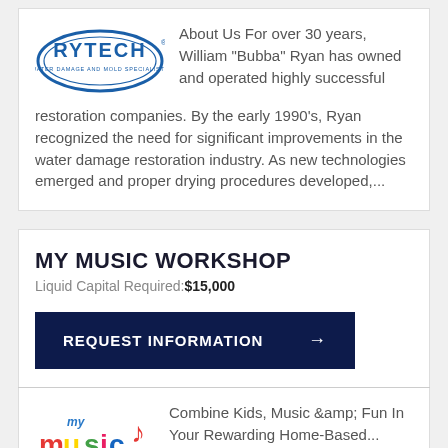[Figure (logo): Rytech Water Damage and Mold Specialists logo - oval shape with RYTECH text in bold]
About Us For over 30 years, William "Bubba" Ryan has owned and operated highly successful restoration companies. By the early 1990's, Ryan recognized the need for significant improvements in the water damage restoration industry. As new technologies emerged and proper drying procedures developed,...
MY MUSIC WORKSHOP
Liquid Capital Required: $15,000
REQUEST INFORMATION →
[Figure (logo): My Music Workshop logo - colorful text with musical elements]
Combine Kids, Music &amp; Fun In Your Rewarding Home-Based...